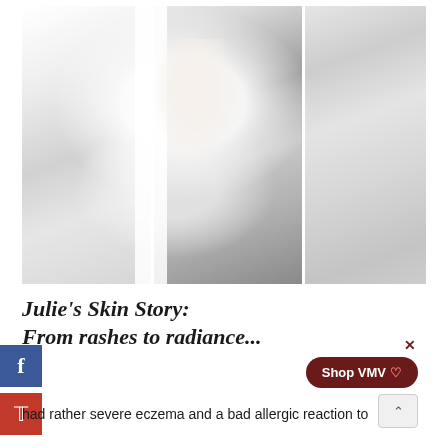[Figure (photo): Black and white photograph of a smiling bride in a white lace wedding dress, leaning out of a white car window. The car door frames are visible. In the right window, a reflection or second figure in white is visible.]
Julie's Skin Story: From rashes to radiance...
had rather severe eczema and a bad allergic reaction to